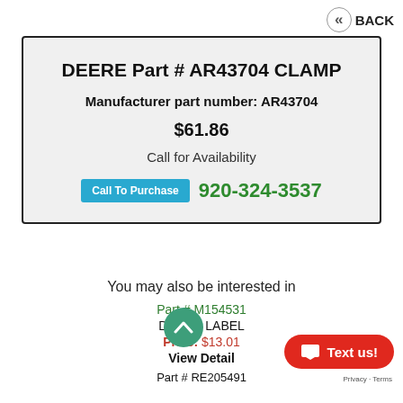« BACK
DEERE Part # AR43704 CLAMP
Manufacturer part number: AR43704
$61.86
Call for Availability
Call To Purchase  920-324-3537
You may also be interested in
Part # M154531
DEERE LABEL
Price: $13.01
View Detail
Part # RE205491